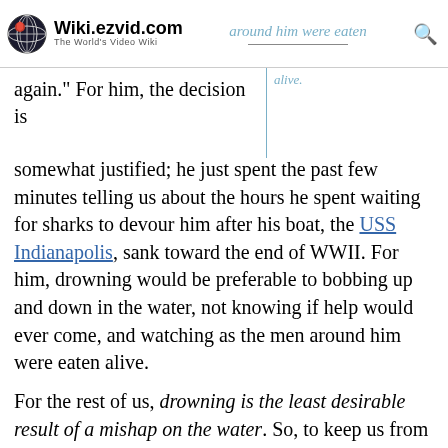Wiki.ezvid.com – The World's Video Wiki
again.” For him, the decision is somewhat justified; he just spent the past few minutes telling us about the hours he spent waiting for sharks to devour him after his boat, the USS Indianapolis, sank toward the end of WWII. For him, drowning would be preferable to bobbing up and down in the water, not knowing if help would ever come, and watching as the men around him were eaten alive.
For the rest of us, drowning is the least desirable result of a mishap on the water. So, to keep us from drowning, we don life vests every time we leave the slip. In many bodies of water, it’s illegal not to go out